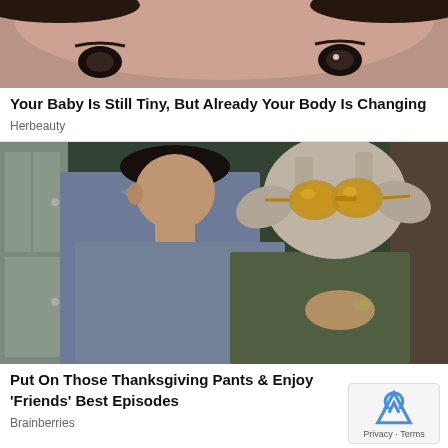[Figure (photo): Close-up of a baby's face, top portion, cropped]
Your Baby Is Still Tiny, But Already Your Body Is Changing
Herbeauty
[Figure (photo): Scene from Friends TV show: a person with a raw turkey on their head wearing sunglasses, facing another person in a blue shirt]
Put On Those Thanksgiving Pants & Enjoy 'Friends' Best Episodes
Brainberries